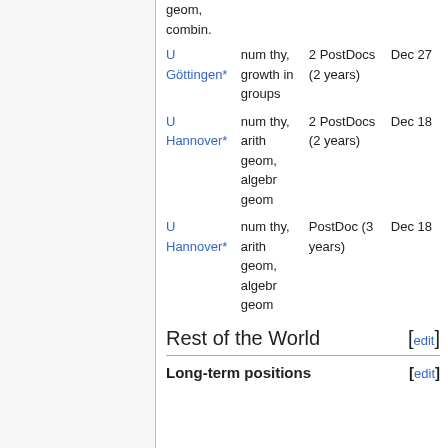geom, combin.
| U Göttingen* | num thy, growth in groups | 2 PostDocs (2 years) | Dec 27 |
| U Hannover* | num thy, arith geom, algebr geom | 2 PostDocs (2 years) | Dec 18 |
| U Hannover* | num thy, arith geom, algebr geom | PostDoc (3 years) | Dec 18 |
Rest of the World
Long-term positions